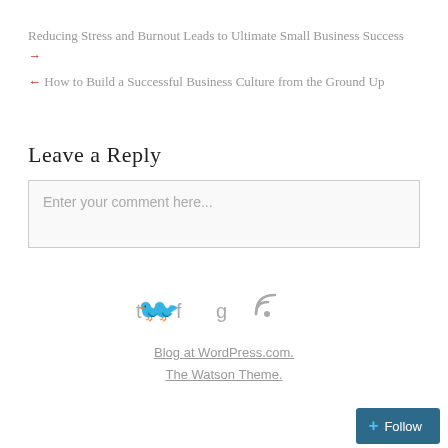Reducing Stress and Burnout Leads to Ultimate Small Business Success →
← How to Build a Successful Business Culture from the Ground Up
Leave a Reply
Enter your comment here...
[Figure (other): Social media icons: Twitter, Facebook, Google+, RSS feed]
Blog at WordPress.com. The Watson Theme.
+ Follow